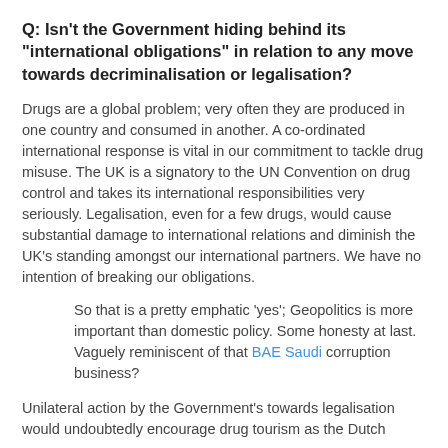Q: Isn't the Government hiding behind its "international obligations" in relation to any move towards decriminalisation or legalisation?
Drugs are a global problem; very often they are produced in one country and consumed in another. A co-ordinated international response is vital in our commitment to tackle drug misuse. The UK is a signatory to the UN Convention on drug control and takes its international responsibilities very seriously. Legalisation, even for a few drugs, would cause substantial damage to international relations and diminish the UK's standing amongst our international partners. We have no intention of breaking our obligations.
So that is a pretty emphatic 'yes'; Geopolitics is more important than domestic policy. Some honesty at last. Vaguely reminiscent of that BAE Saudi corruption business?
Unilateral action by the Government's towards legalisation would undoubtedly encourage drug tourism as the Dutch have discovered and there are major business costs to all that...